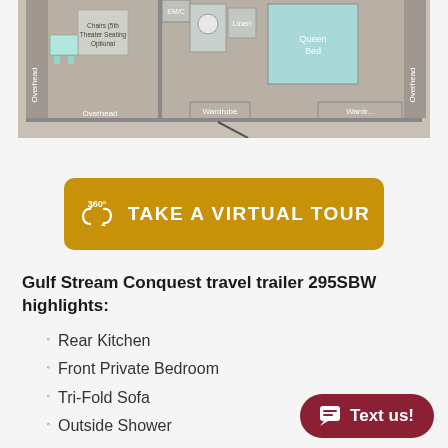[Figure (schematic): Floor plan schematic of Gulf Stream Conquest travel trailer 295SBW showing Overhead storage, Chairs (5th Theater Seating Optional), Overhead, EM/C, Linen, Queen Bed, Overhead, Wardrobe, Wardrobe areas]
[Figure (other): 360 degree virtual tour button in golden/amber color with circular arrow icon and text TAKE A VIRTUAL TOUR]
Gulf Stream Conquest travel trailer 295SBW highlights:
Rear Kitchen
Front Private Bedroom
Tri-Fold Sofa
Outside Shower